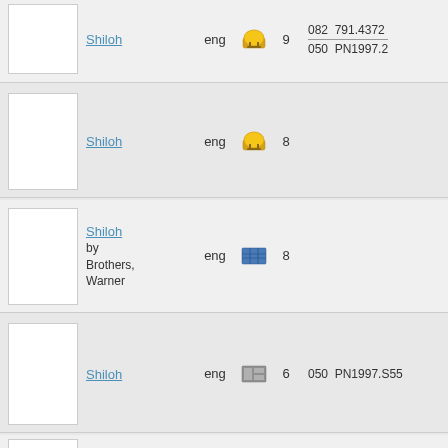| Thumbnail | Title | Language | Format | Count | Call Number |
| --- | --- | --- | --- | --- | --- |
|  | Shiloh | eng | [audio icon] | 9 | 082  791.4372 / 050  PN1997.2 |
|  | Shiloh | eng | [audio icon] | 8 |  |
|  | Shiloh by Brothers, Warner | eng | [video icon] | 8 |  |
|  | Shiloh | eng | [gray icon] | 6 | 050  PN1997.S55 |